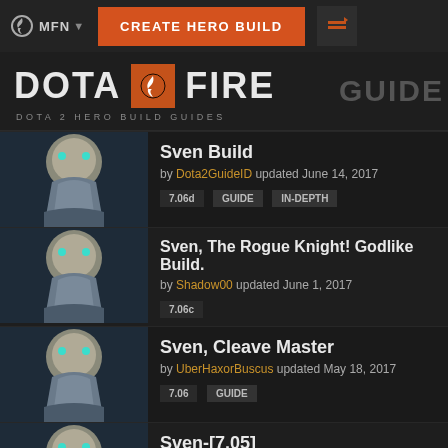MFN | CREATE HERO BUILD
DOTA FIRE — DOTA 2 HERO BUILD GUIDES
Sven Build — by Dota2GuideID updated June 14, 2017 — tags: 7.06d, GUIDE, IN-DEPTH
Sven, The Rogue Knight! Godlike Build. — by Shadow00 updated June 1, 2017 — tags: 7.06c
Sven, Cleave Master — by UberHaxorBuscus updated May 18, 2017 — tags: 7.06, GUIDE
Sven-[7.05] — by Mirage2004 updated April 17, 2017 — tags: 7.05